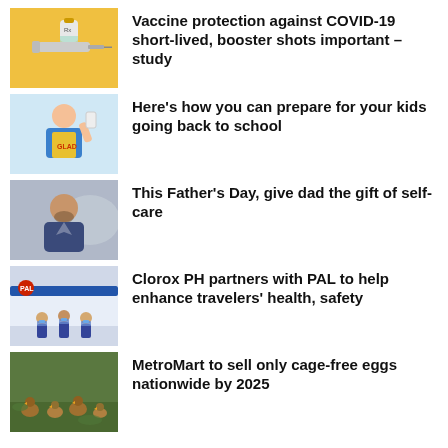[Figure (photo): Vaccine syringe and vial on yellow background]
Vaccine protection against COVID-19 short-lived, booster shots important – study
[Figure (photo): Woman in yellow apron holding grocery/school items]
Here's how you can prepare for your kids going back to school
[Figure (photo): Man with beard in blue jacket outdoor blurred background]
This Father's Day, give dad the gift of self-care
[Figure (photo): Clorox and PAL airline staff in uniforms with face masks]
Clorox PH partners with PAL to help enhance travelers' health, safety
[Figure (photo): Ducks or chickens on green grass field]
MetroMart to sell only cage-free eggs nationwide by 2025